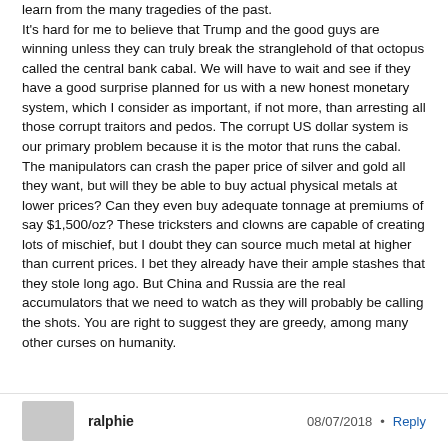learn from the many tragedies of the past. It's hard for me to believe that Trump and the good guys are winning unless they can truly break the stranglehold of that octopus called the central bank cabal. We will have to wait and see if they have a good surprise planned for us with a new honest monetary system, which I consider as important, if not more, than arresting all those corrupt traitors and pedos. The corrupt US dollar system is our primary problem because it is the motor that runs the cabal. The manipulators can crash the paper price of silver and gold all they want, but will they be able to buy actual physical metals at lower prices? Can they even buy adequate tonnage at premiums of say $1,500/oz? These tricksters and clowns are capable of creating lots of mischief, but I doubt they can source much metal at higher than current prices. I bet they already have their ample stashes that they stole long ago. But China and Russia are the real accumulators that we need to watch as they will probably be calling the shots. You are right to suggest they are greedy, among many other curses on humanity.
ralphie  08/07/2018 • Reply